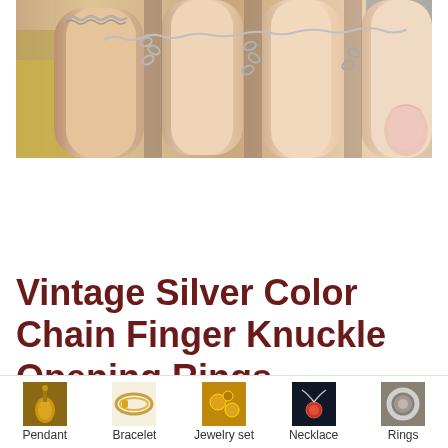[Figure (photo): Close-up photo of fingers wearing vintage silver chain knuckle rings with linking chain between fingers]
Vintage Silver Color Chain Finger Knuckle Opening Rings
[Figure (infographic): Bottom navigation bar with category thumbnails: Pendant, Bracelet, Jewelry set, Necklace, Rings]